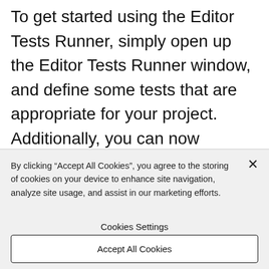To get started using the Editor Tests Runner, simply open up the Editor Tests Runner window, and define some tests that are appropriate for your project. Additionally, you can now configure our automated build service Cloud Build to run these editor tests automatically on your game project, allowing you to catch problems sooner
By clicking “Accept All Cookies”, you agree to the storing of cookies on your device to enhance site navigation, analyze site usage, and assist in our marketing efforts.
Cookies Settings
Accept All Cookies